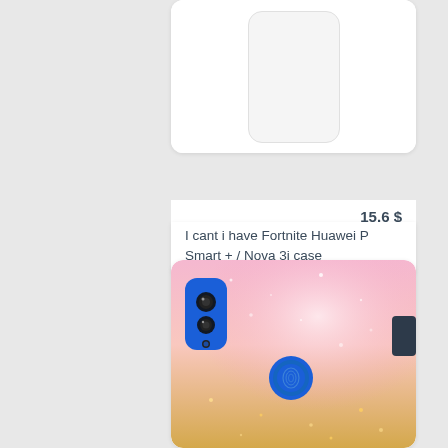[Figure (photo): White phone case product image (blank/white) on white background, top portion of product card]
15.6 $
I cant i have Fortnite Huawei P Smart + / Nova 3i case
[Figure (photo): Huawei P Smart+ phone case with pink and gold glitter gradient design, showing the phone with blue camera module and blue fingerprint sensor on the case]